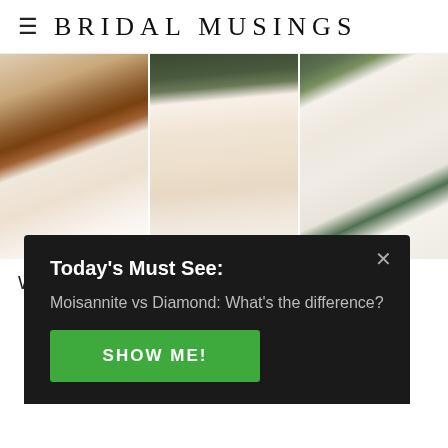BRIDAL MUSINGS
[Figure (photo): Three wedding dress photos side by side: left shows a woman in a fitted satin gown near wooden doors, center shows a woman in an ornate lace mermaid gown against greenery, right shows a woman in a simple long-sleeve crepe gown outdoors]
We use cookies to optimize our website and our
Today's Must See:
Moisannite vs Diamond: What's the difference?
SHOW ME!